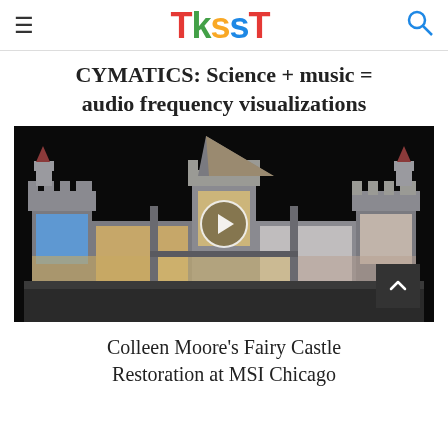TKSST
CYMATICS: Science + music = audio frequency visualizations
[Figure (screenshot): Video thumbnail showing Colleen Moore's Fairy Castle — a detailed dollhouse castle with illuminated rooms visible through open fronts, displayed against a black background. A circular play button is overlaid in the center.]
Colleen Moore's Fairy Castle Restoration at MSI Chicago